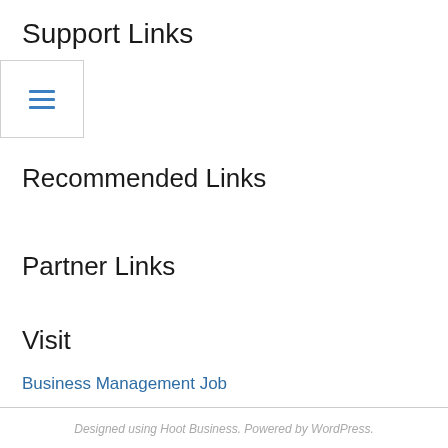Support Links
[Figure (other): Hamburger menu icon with three horizontal blue lines inside a bordered box]
Recommended Links
Partner Links
Visit
Business Management Job
Designed using Hoot Business. Powered by WordPress.